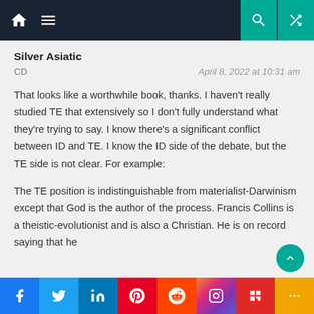Navigation bar with home, menu, search, and shuffle icons
Silver Asiatic
CD
April 8, 2022 at 10:31 am
That looks like a worthwhile book, thanks. I haven't really studied TE that extensively so I don't fully understand what they're trying to say. I know there's a significant conflict between ID and TE. I know the ID side of the debate, but the TE side is not clear. For example:
The TE position is indistinguishable from materialist-Darwinism except that God is the author of the process. Francis Collins is a theistic-evolutionist and is also a Christian. He is on record saying that he
Social share bar: Facebook, Twitter, LinkedIn, Pinterest, Reddit, Instagram, Flipboard, More